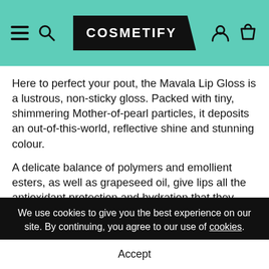COSMETIFY
Here to perfect your pout, the Mavala Lip Gloss is a lustrous, non-sticky gloss. Packed with tiny, shimmering Mother-of-pearl particles, it deposits an out-of-this-world, reflective shine and stunning colour.
A delicate balance of polymers and emollient esters, as well as grapeseed oil, give lips all the antioxidant protection and hydration that they need to remain soft, smooth and plump throughout the day. Pucker up and rock a picture-perfect pout knowing that your lips are fully shielded against the li...
We use cookies to give you the best experience on our site. By continuing, you agree to our use of cookies.
Accept